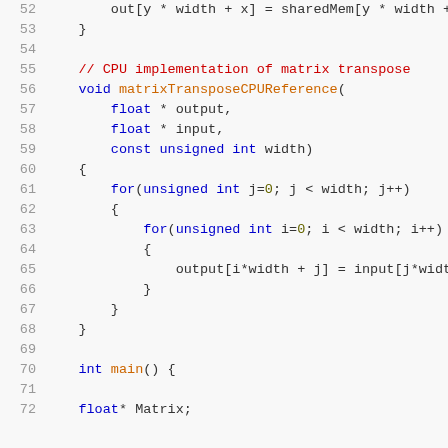[Figure (screenshot): Source code listing in C/CUDA showing lines 52-72, with syntax highlighting. Lines shown: array assignment to out[], closing brace, blank line, comment '// CPU implementation of matrix transpose', void function matrixTransposeCPUReference with float* output, float* input, const unsigned int width parameters, nested for loops over j and i, inner assignment output[i*width + j] = input[j*width...], closing braces, blank line, int main() {, blank line, float* Matrix;]